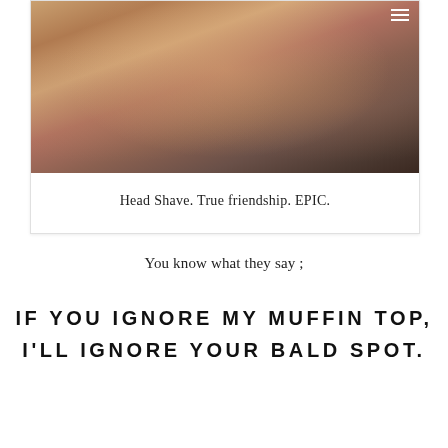[Figure (photo): Three shirtless men posing together, torsos visible, taken from a close angle with warm Instagram-style filter tones]
Head Shave. True friendship. EPIC.
You know what they say ;
IF YOU IGNORE MY MUFFIN TOP, I'LL IGNORE YOUR BALD SPOT.